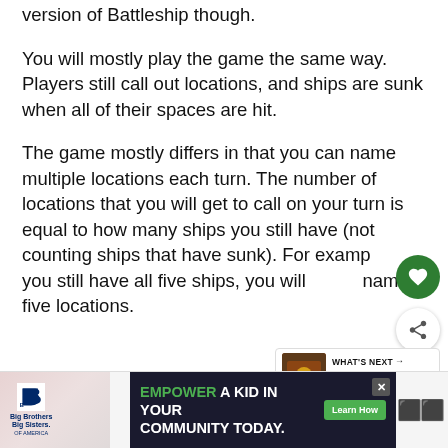version of Battleship though.
You will mostly play the game the same way. Players still call out locations, and ships are sunk when all of their spaces are hit.
The game mostly differs in that you can name multiple locations each turn. The number of locations that you will get to call on your turn is equal to how many ships you still have (not counting ships that have sunk). For example, if you still have all five ships, you will name five locations.
[Figure (other): Circular green heart/favorite button overlay]
[Figure (other): Share button overlay (white circle with share icon)]
[Figure (other): What's Next widget showing September 2022 TV and... with thumbnail]
[Figure (other): Advertisement banner: Big Brothers Big Sisters - EMPOWER A KID IN YOUR COMMUNITY TODAY. Learn How button. Close button X.]